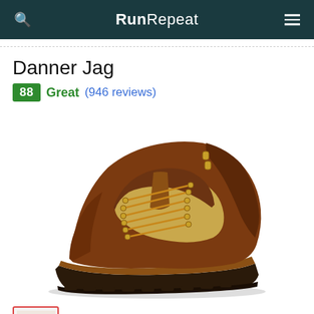RunRepeat
Danner Jag
88 Great (946 reviews)
[Figure (photo): Side view of the Danner Jag hiking boot in brown leather with tan textile panels, gold eyelets, and brown lug sole]
[Figure (photo): Small thumbnail of Danner Jag boot from a different angle]